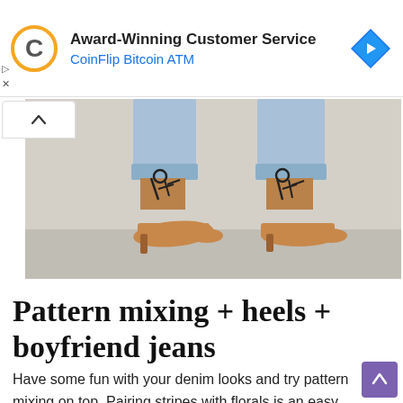[Figure (infographic): Ad banner: CoinFlip Bitcoin ATM — Award-Winning Customer Service, with a stylized C logo and a blue navigation diamond icon. Play and X controls on the left side.]
[Figure (photo): Close-up photo of a person's legs wearing cuffed light-wash boyfriend jeans and tan lace-up kitten heel shoes with black strappy ties, standing against a light concrete wall.]
Pattern mixing + heels + boyfriend jeans
Have some fun with your denim looks and try pattern mixing on top. Pairing stripes with florals is an easy